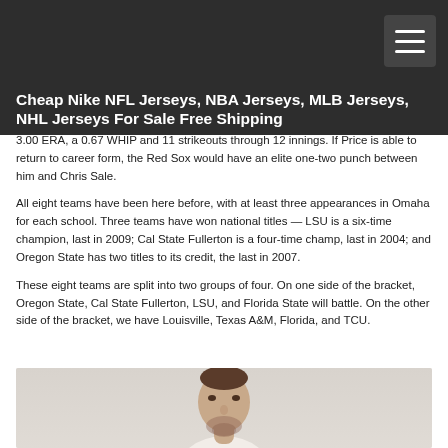Cheap Nike NFL Jerseys, NBA Jerseys, MLB Jerseys, NHL Jerseys For Sale Free Shipping
3.00 ERA, a 0.67 WHIP and 11 strikeouts through 12 innings. If Price is able to return to career form, the Red Sox would have an elite one-two punch between him and Chris Sale.
All eight teams have been here before, with at least three appearances in Omaha for each school. Three teams have won national titles — LSU is a six-time champion, last in 2009; Cal State Fullerton is a four-time champ, last in 2004; and Oregon State has two titles to its credit, the last in 2007.
These eight teams are split into two groups of four. On one side of the bracket, Oregon State, Cal State Fullerton, LSU, and Florida State will battle. On the other side of the bracket, we have Louisville, Texas A&M, Florida, and TCU.
[Figure (photo): Partial view of a man wearing a white t-shirt, showing from chest up, with beard, on a light beige/cream background]